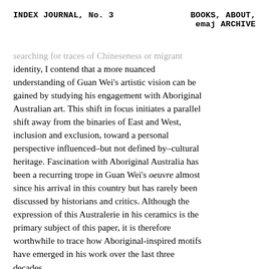INDEX JOURNAL, No. 3    BOOKS, ABOUT, emaj ARCHIVE
searching for traces of Chineseness or migrant identity, I contend that a more nuanced understanding of Guan Wei’s artistic vision can be gained by studying his engagement with Aboriginal Australian art. This shift in focus initiates a parallel shift away from the binaries of East and West, inclusion and exclusion, toward a personal perspective influenced–but not defined by–cultural heritage. Fascination with Aboriginal Australia has been a recurring trope in Guan Wei’s oeuvre almost since his arrival in this country but has rarely been discussed by historians and critics. Although the expression of this Australerie in his ceramics is the primary subject of this paper, it is therefore worthwhile to trace how Aboriginal-inspired motifs have emerged in his work over the last three decades.
 Guan Wei has long expressed a fascination